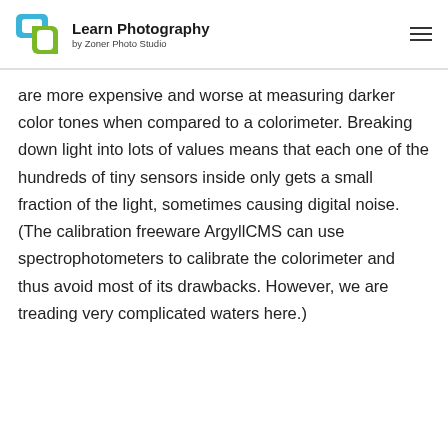Learn Photography by Zoner Photo Studio
are more expensive and worse at measuring darker color tones when compared to a colorimeter. Breaking down light into lots of values means that each one of the hundreds of tiny sensors inside only gets a small fraction of the light, sometimes causing digital noise. (The calibration freeware ArgyllCMS can use spectrophotometers to calibrate the colorimeter and thus avoid most of its drawbacks. However, we are treading very complicated waters here.)